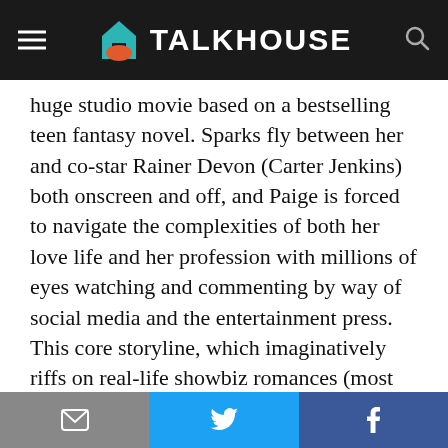TALKHOUSE
huge studio movie based on a bestselling teen fantasy novel. Sparks fly between her and co-star Rainer Devon (Carter Jenkins) both onscreen and off, and Paige is forced to navigate the complexities of both her love life and her profession with millions of eyes watching and commenting by way of social media and the entertainment press. This core storyline, which imaginatively riffs on real-life showbiz romances (most obviously, the one between Kristen Stewart and Robert
Privacy & Cookies: This site uses cookies. By continuing to use this website, you agree to their use.
To find out more, including how to control cookies, see here: Cookie Policy